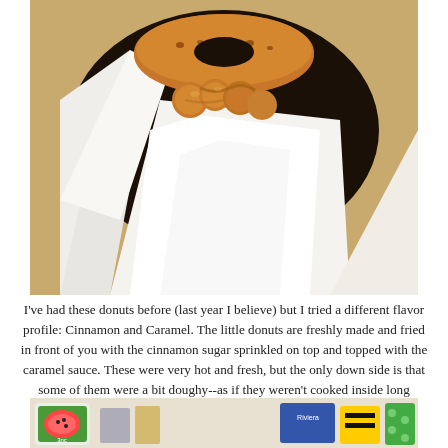[Figure (photo): Close-up photo of small fried donuts in a dark bowl lined with white wax paper, showing cinnamon sugar coating and caramel sauce drizzled on top, placed on a wooden surface.]
I've had these donuts before (last year I believe) but I tried a different flavor profile: Cinnamon and Caramel. The little donuts are freshly made and fried in front of you with the cinnamon sugar sprinkled on top and topped with the caramel sauce. These were very hot and fresh, but the only down side is that some of them were a bit doughy--as if they weren't cooked inside long enough. But for $4 at a food truck event, it isn't too bad a price since everything else is pretty pricy.
[Figure (photo): Partial view of a table with various snack food packages and items visible at the bottom of the page.]